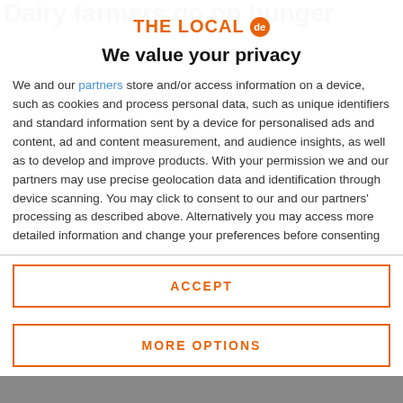Dairy farmers go on hunger
[Figure (logo): THE LOCAL de logo in orange with circular badge]
We value your privacy
We and our partners store and/or access information on a device, such as cookies and process personal data, such as unique identifiers and standard information sent by a device for personalised ads and content, ad and content measurement, and audience insights, as well as to develop and improve products. With your permission we and our partners may use precise geolocation data and identification through device scanning. You may click to consent to our and our partners' processing as described above. Alternatively you may access more detailed information and change your preferences before consenting
ACCEPT
MORE OPTIONS
[Figure (photo): Bottom portion of a news article photo partially visible]